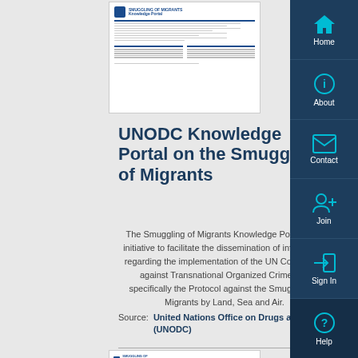[Figure (screenshot): Small thumbnail screenshot of the UNODC Smuggling of Migrants document page at the top]
UNODC Knowledge Portal on the Smuggling of Migrants
The Smuggling of Migrants Knowledge Portal is an initiative to facilitate the dissemination of information regarding the implementation of the UN Convention against Transnational Organized Crime and specifically the Protocol against the Smuggling of Migrants by Land, Sea and Air.
Source: United Nations Office on Drugs and Crime (UNODC)
[Figure (screenshot): Small thumbnail screenshot of the UNODC Knowledge Portal website interface at the bottom]
[Figure (infographic): Right sidebar navigation with Home, About, Contact, Join, Sign In, and Help buttons with cyan icons on dark navy background]